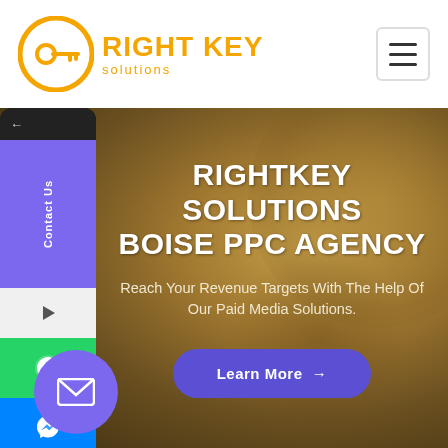[Figure (logo): Right Key Solutions logo — orange circular key icon with text RIGHT KEY solutions in orange]
[Figure (illustration): Hamburger menu icon — three horizontal lines in a bordered square button]
[Figure (screenshot): Website hero section with golden-brown gradient background, sidebar with social media icons (Contact Us, WhatsApp, Messenger, email), heading RIGHTKEY SOLUTIONS BOISE PPC AGENCY, subtitle Reach Your Revenue Targets With The Help Of Our Paid Media Solutions, and a Learn More button]
RIGHTKEY SOLUTIONS BOISE PPC AGENCY
Reach Your Revenue Targets With The Help Of Our Paid Media Solutions.
Learn More →